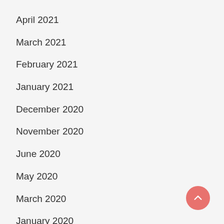April 2021
March 2021
February 2021
January 2021
December 2020
November 2020
June 2020
May 2020
March 2020
January 2020
December 2019
January 2019
[Figure (other): Back to top button — pink circular button with upward chevron arrow]